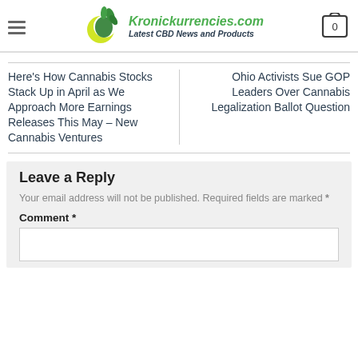Kronickurrencies.com — Latest CBD News and Products
Here's How Cannabis Stocks Stack Up in April as We Approach More Earnings Releases This May – New Cannabis Ventures
Ohio Activists Sue GOP Leaders Over Cannabis Legalization Ballot Question
Leave a Reply
Your email address will not be published. Required fields are marked *
Comment *